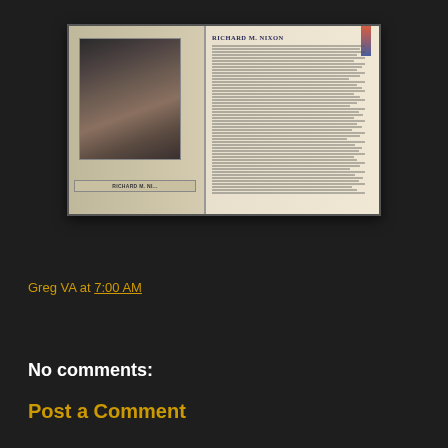[Figure (photo): Open book spread showing a black-and-white portrait photo of Richard M. Nixon on the left page, with a nameplate reading 'RICHARD M. NI...' below the photo. The right page shows the heading 'RICHARD M. NIXON' with dense text below it and a flag visible at top right.]
Greg VA at 7:00 AM
Share
No comments:
Post a Comment